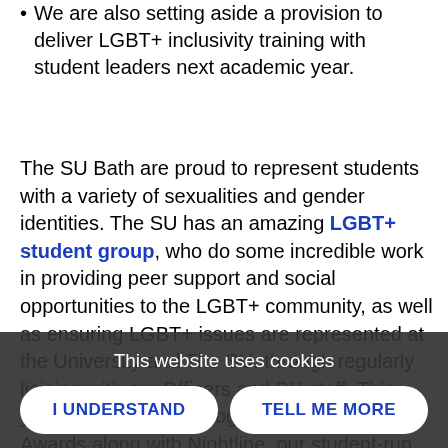We are also setting aside a provision to deliver LGBT+ inclusivity training with student leaders next academic year.
The SU Bath are proud to represent students with a variety of sexualities and gender identities. The SU has an amazing LGBT+ student group, who do some incredible work in providing peer support and social opportunities to the LGBT+ community, as well as ensuring LGBT+ issues are represented at the University and The SU, through regularly liaising with our Officers and SU staff. This year, LGBT+ were recognised in the SU Awards along with Nightline, our student-run confidential listening service, for best collaboration. This is just a brief example of the great work they do.
This website uses cookies
I UNDERSTAND
TELL ME MORE